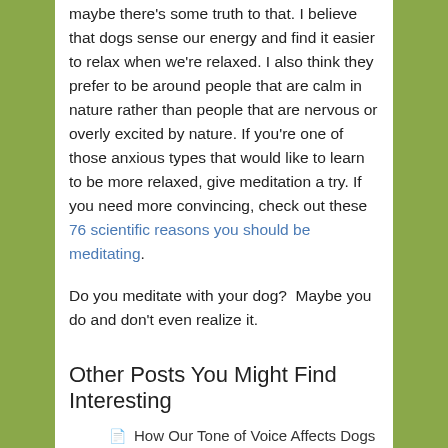maybe there's some truth to that. I believe that dogs sense our energy and find it easier to relax when we're relaxed. I also think they prefer to be around people that are calm in nature rather than people that are nervous or overly excited by nature. If you're one of those anxious types that would like to learn to be more relaxed, give meditation a try. If you need more convincing, check out these 76 scientific reasons you should be meditating.
Do you meditate with your dog?  Maybe you do and don't even realize it.
Other Posts You Might Find Interesting
How Our Tone of Voice Affects Dogs
3 Misconceptions About Dog Body Language
Help My Dog Gets Too Excited...